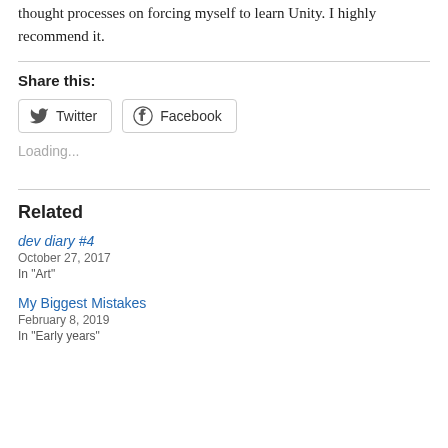thought processes on forcing myself to learn Unity. I highly recommend it.
Share this:
[Figure (other): Share buttons for Twitter and Facebook]
Loading...
Related
dev diary #4
October 27, 2017
In "Art"
My Biggest Mistakes
February 8, 2019
In "Early years"